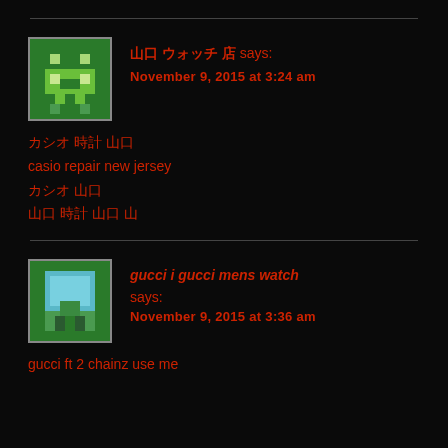Comment 1 header: [non-latin username] says: November 9, 2015 at 3:24 am
[non-latin text line 1]
casio repair new jersey
[non-latin text line 2]
[non-latin text line 3]
gucci i gucci mens watch says: November 9, 2015 at 3:36 am
gucci ft 2 chainz use me